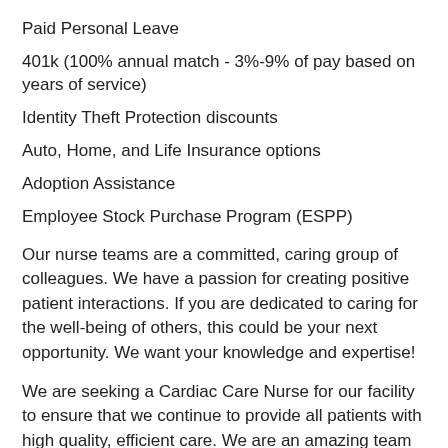Paid Personal Leave
401k (100% annual match - 3%-9% of pay based on years of service)
Identity Theft Protection discounts
Auto, Home, and Life Insurance options
Adoption Assistance
Employee Stock Purchase Program (ESPP)
Our nurse teams are a committed, caring group of colleagues. We have a passion for creating positive patient interactions. If you are dedicated to caring for the well-being of others, this could be your next opportunity. We want your knowledge and expertise!
We are seeking a Cardiac Care Nurse for our facility to ensure that we continue to provide all patients with high quality, efficient care. We are an amazing team that works hard to support each other and we are seeking a phenomenal addition